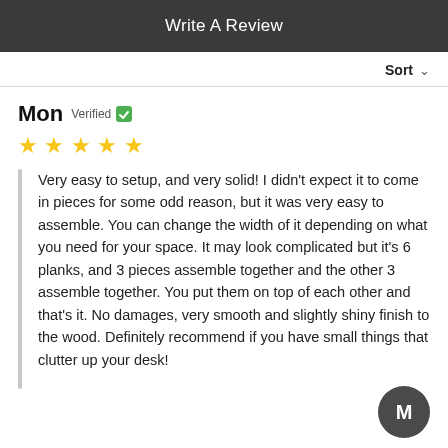Write A Review
Sort
Mon Verified ☑ ★★★★★
Very easy to setup, and very solid! I didn't expect it to come in pieces for some odd reason, but it was very easy to assemble. You can change the width of it depending on what you need for your space. It may look complicated but it's 6 planks, and 3 pieces assemble together and the other 3 assemble together. You put them on top of each other and that's it. No damages, very smooth and slightly shiny finish to the wood. Definitely recommend if you have small things that clutter up your desk!